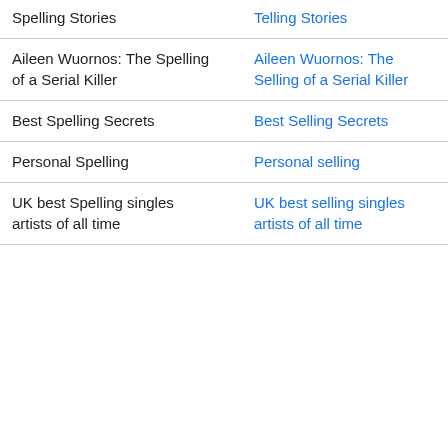| Query | Correction |
| --- | --- |
| Spelling Stories | Telling Stories |
| Aileen Wuornos: The Spelling of a Serial Killer | Aileen Wuornos: The Selling of a Serial Killer |
| Best Spelling Secrets | Best Selling Secrets |
| Personal Spelling | Personal selling |
| UK best Spelling singles artists of all time | UK best selling singles artists of all time |